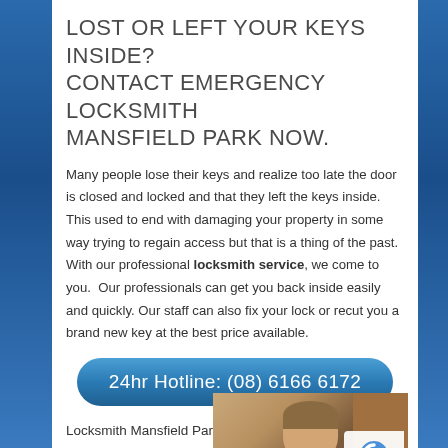LOST OR LEFT YOUR KEYS INSIDE? CONTACT EMERGENCY LOCKSMITH MANSFIELD PARK NOW.
Many people lose their keys and realize too late the door is closed and locked and that they left the keys inside. This used to end with damaging your property in some way trying to regain access but that is a thing of the past. With our professional locksmith service, we come to you. Our professionals can get you back inside easily and quickly. Our staff can also fix your lock or recut you a brand new key at the best price available.
24hr Hotline: (08) 6166 6172
Locksmith Mansfield Park
[Figure (photo): Person working on a door lock]